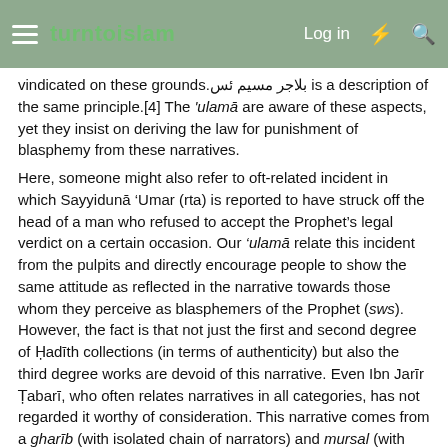turntoislam — Log in
vindicated on these grounds. بلاجر مسیم ئس is a description of the same principle.[4] The ‘ulamā are aware of these aspects, yet they insist on deriving the law for punishment of blasphemy from these narratives.
Here, someone might also refer to oft-related incident in which Sayyidunā ‘Umar (rta) is reported to have struck off the head of a man who refused to accept the Prophet’s legal verdict on a certain occasion. Our ‘ulamā relate this incident from the pulpits and directly encourage people to show the same attitude as reflected in the narrative towards those whom they perceive as blasphemers of the Prophet (sws). However, the fact is that not just the first and second degree of Ḥadīth collections (in terms of authenticity) but also the third degree works are devoid of this narrative. Even Ibn Jarīr Ṭabarī, who often relates narratives in all categories, has not regarded it worthy of consideration. This narrative comes from a gharīb (with isolated chain of narrators) and mursal (with omissions in the chain) Ḥadīth that has been cited by some exegetes in their commentaries; however, those acquainted to some extent with Ḥadīth sciences have clarified that, in the chain, its attribution to Ibn ‘Abbās is absolutely